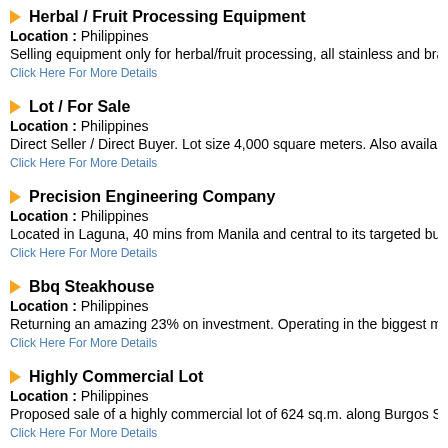Herbal / Fruit Processing Equipment
Location : Philippines
Selling equipment only for herbal/fruit processing, all stainless and branded
Click Here For More Details
Lot / For Sale
Location : Philippines
Direct Seller / Direct Buyer. Lot size 4,000 square meters. Also available lot
Click Here For More Details
Precision Engineering Company
Location : Philippines
Located in Laguna, 40 mins from Manila and central to its targeted business
Click Here For More Details
Bbq Steakhouse
Location : Philippines
Returning an amazing 23% on investment. Operating in the biggest mall in A
Click Here For More Details
Highly Commercial Lot
Location : Philippines
Proposed sale of a highly commercial lot of 624 sq.m. along Burgos St. and
Click Here For More Details
Culinary School For Sale